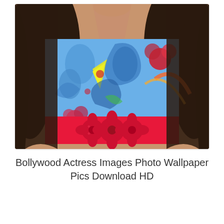[Figure (photo): A woman with long dark curly hair wearing a colorful blue floral/paisley sleeveless wrap-style top with a bright red belt/band at the waist with red floral embellishments. The photo is cropped from her neck/chin down to the waist area.]
Bollywood Actress Images Photo Wallpaper Pics Download HD